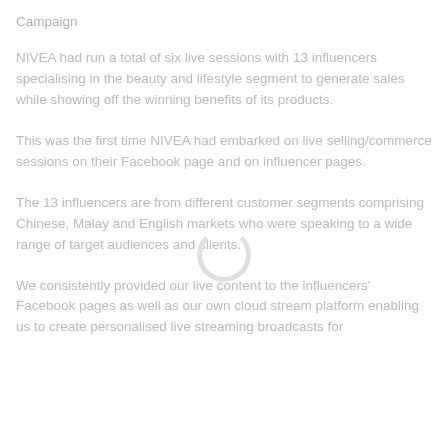Campaign
NIVEA had run a total of six live sessions with 13 influencers specialising in the beauty and lifestyle segment to generate sales while showing off the winning benefits of its products.
This was the first time NIVEA had embarked on live selling/commerce sessions on their Facebook page and on influencer pages.
The 13 influencers are from different customer segments comprising Chinese, Malay and English markets who were speaking to a wide range of target audiences and clients.
We consistently provided our live content to the influencers' Facebook pages as well as our own cloud stream platform enabling us to create personalised live streaming broadcasts for